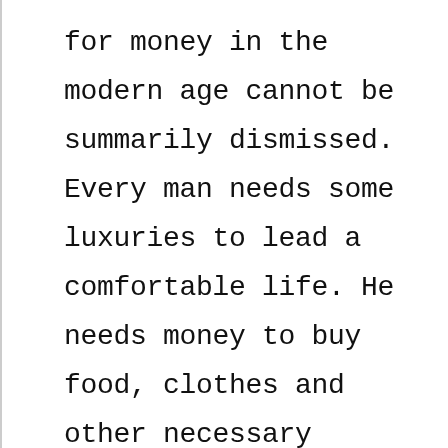for money in the modern age cannot be summarily dismissed. Every man needs some luxuries to lead a comfortable life. He needs money to buy food, clothes and other necessary articles.